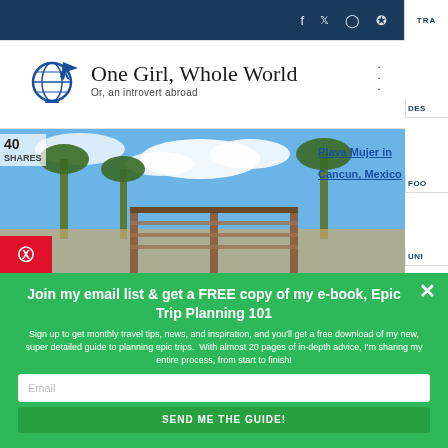Social icons: f, twitter, instagram, pinterest | TRA
[Figure (logo): Globe with airplane logo - One Girl, Whole World. Or, an introvert abroad]
[Figure (photo): Tropical beach scene at Playa Mujer in Cancun, Mexico with thatched roof structures, palm trees and blue sky. 40 shares badge and Pinterest icon overlay.]
Playa Mujer in Cancun, Mexico
Join my email list & get a FREE copy of my e-book, Epic Trip Planning 101
Sign up to get monthly travel tips, news, and inspiration, and you'll get a free download of my new, super detailed guide to planning epic trips.  With almost 20 pages of in-depth advice, I'm sharing my entire process, from start to finish!
Email
SEND ME THE GUIDE!